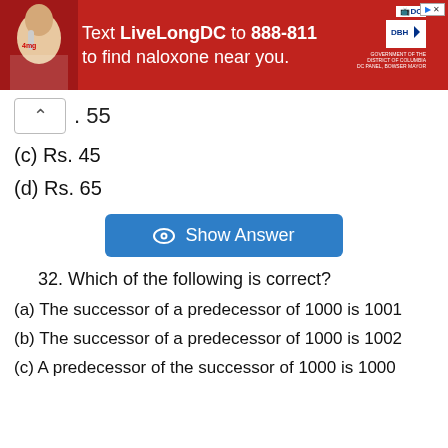[Figure (screenshot): Red advertisement banner: Text LiveLongDC to 888-811 to find naloxone near you, with DC and DRH logos]
. 55
(c) Rs. 45
(d) Rs. 65
Show Answer
32. Which of the following is correct?
(a) The successor of a predecessor of 1000 is 1001
(b) The successor of a predecessor of 1000 is 1002
(c) A predecessor of the successor of 1000 is 1000